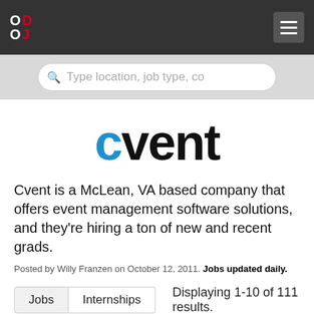ODO J
Type location, job type, co
[Figure (logo): Cvent company logo in blue and black text]
Cvent is a McLean, VA based company that offers event management software solutions, and they're hiring a ton of new and recent grads.
Posted by Willy Franzen on October 12, 2011. Jobs updated daily.
Jobs  Internships  Displaying 1-10 of 111 results.
SDET II